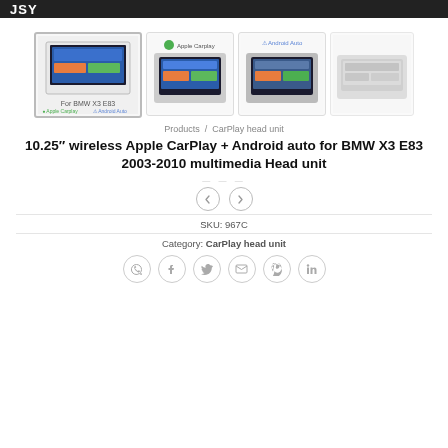JSY
[Figure (photo): Product images of 10.25 inch wireless Apple CarPlay Android auto head unit for BMW X3 E83. Four product photos shown: main highlighted image with box showing product, and three additional angle/feature photos.]
Products / CarPlay head unit
10.25" wireless Apple CarPlay + Android auto for BMW X3 E83 2003-2010 multimedia Head unit
SKU: 967C
Category: CarPlay head unit